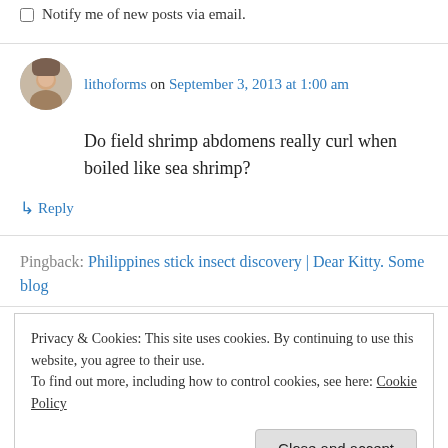Notify me of new posts via email.
lithoforms on September 3, 2013 at 1:00 am
Do field shrimp abdomens really curl when boiled like sea shrimp?
↳ Reply
Pingback: Philippines stick insect discovery | Dear Kitty. Some blog
Privacy & Cookies: This site uses cookies. By continuing to use this website, you agree to their use. To find out more, including how to control cookies, see here: Cookie Policy
Close and accept
Ecology / Natural History (2)